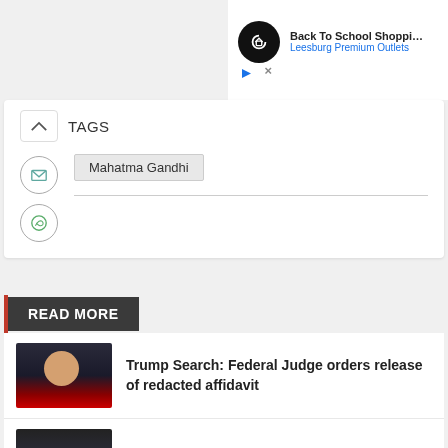[Figure (screenshot): Ad banner: Back To School Shopping – Leesburg Premium Outlets, with infinity-loop logo icon and play/close buttons]
TAGS
Mahatma Gandhi
READ MORE
[Figure (photo): Photo of Donald Trump in suit with red tie]
Trump Search: Federal Judge orders release of redacted affidavit
[Figure (photo): Photo of Novak Djokovic]
Unvaccinated Djokovic out of US Open